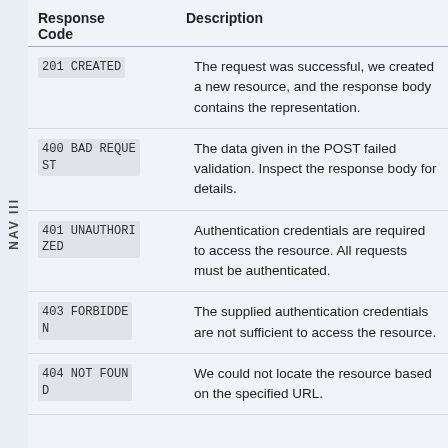| Response Code | Description |
| --- | --- |
| 201 CREATED | The request was successful, we created a new resource, and the response body contains the representation. |
| 400 BAD REQUEST | The data given in the POST failed validation. Inspect the response body for details. |
| 401 UNAUTHORIZED | Authentication credentials are required to access the resource. All requests must be authenticated. |
| 403 FORBIDDEN | The supplied authentication credentials are not sufficient to access the resource. |
| 404 NOT FOUND | We could not locate the resource based on the specified URL. |